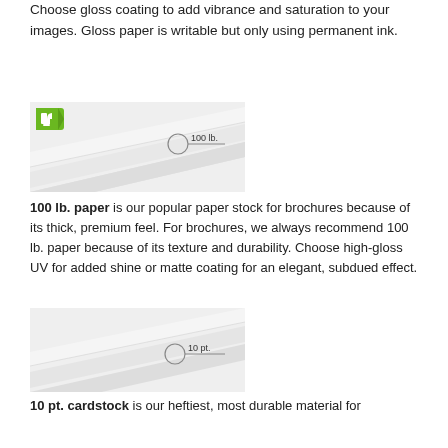Choose gloss coating to add vibrance and saturation to your images. Gloss paper is writable but only using permanent ink.
[Figure (illustration): Illustration of layered paper sheets with a green thumbs-up arrow icon in top-left corner and a circle marker labeled '100 lb.' with a horizontal line indicating paper thickness.]
100 lb. paper is our popular paper stock for brochures because of its thick, premium feel. For brochures, we always recommend 100 lb. paper because of its texture and durability. Choose high-gloss UV for added shine or matte coating for an elegant, subdued effect.
[Figure (illustration): Illustration of layered paper sheets with a circle marker labeled '10 pt.' and a horizontal line indicating paper thickness.]
10 pt. cardstock is our heftiest, most durable material for